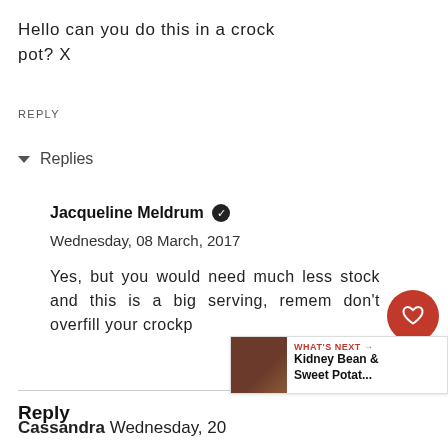Hello can you do this in a crock pot? X
REPLY
▾ Replies
Jacqueline Meldrum ✓
Wednesday, 08 March, 2017
Yes, but you would need much less stock and this is a big serving, remember don't overfill your crockp…
Reply
WHAT'S NEXT → Kidney Bean & Sweet Potat...
Cassandra  Wednesday, 20